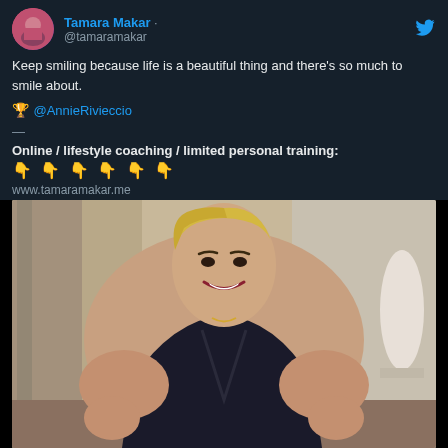Tamara Makar - @tamaramakar
Keep smiling because life is a beautiful thing and there's so much to smile about.
🏆 @AnnieRivieccio
—
Online / lifestyle coaching / limited personal training:
👇👇👇👇👇👇
www.tamaramakar.me
@tamaramakar https://t.co/De4RsUlXw5
[Figure (photo): A muscular blonde woman in a black top flexing her muscles and smiling at the camera in an indoor setting]